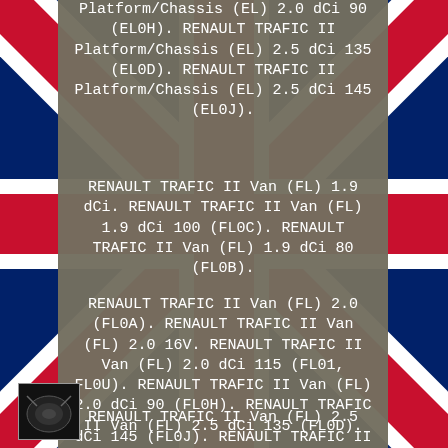[Figure (illustration): Background showing a Union Jack (UK flag) design with red, white, and blue. A dark grey/olive semi-transparent overlay panel covers the center of the page. A small product photo (auto part) is visible in the bottom left corner.]
Platform/Chassis (EL) 2.0 dCi 90 (EL0H). RENAULT TRAFIC II Platform/Chassis (EL) 2.5 dCi 135 (EL0D). RENAULT TRAFIC II Platform/Chassis (EL) 2.5 dCi 145 (EL0J).
RENAULT TRAFIC II Van (FL) 1.9 dCi. RENAULT TRAFIC II Van (FL) 1.9 dCi 100 (FL0C). RENAULT TRAFIC II Van (FL) 1.9 dCi 80 (FL0B).
RENAULT TRAFIC II Van (FL) 2.0 (FL0A). RENAULT TRAFIC II Van (FL) 2.0 16V. RENAULT TRAFIC II Van (FL) 2.0 dCi 115 (FL01, FL0U). RENAULT TRAFIC II Van (FL) 2.0 dCi 90 (FL0H). RENAULT TRAFIC II Van (FL) 2.5 dCi 135 (FL0D).
RENAULT TRAFIC II Van (FL) 2.5 dCi 145 (FL0J). RENAULT TRAFIC II